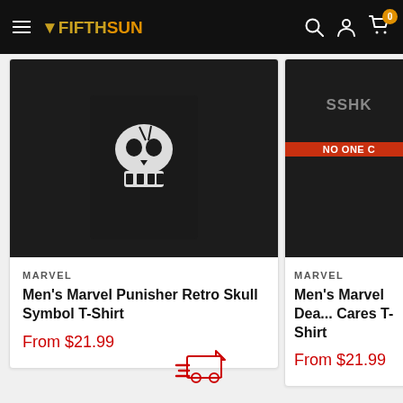Fifth Sun navigation bar with hamburger menu, logo, search, account, and cart (0)
[Figure (screenshot): Black t-shirt with Punisher skull symbol logo on dark background]
MARVEL
Men's Marvel Punisher Retro Skull Symbol T-Shirt
From $21.99
[Figure (screenshot): Black t-shirt partially visible with text SSHK NO ONE C in orange/red on dark background]
MARVEL
Men's Marvel Dea... Cares T-Shirt
From $21.99
[Figure (illustration): Delivery truck icon with speed lines in red outline style]